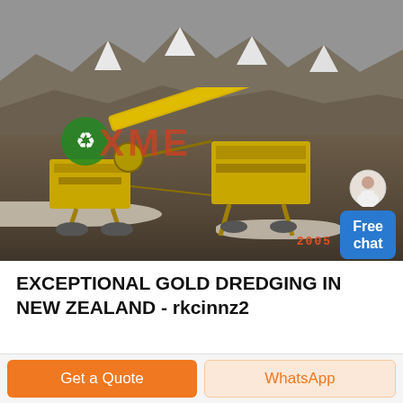[Figure (photo): Photograph of a yellow gold dredging machine operating in a mountainous, snow-capped landscape. The image has a red XME watermark and a green recycling logo overlay. A timestamp reading '2005 2 24' appears in red at the bottom right. A chat widget with a female avatar and a blue 'Free chat' button is overlaid on the top right corner.]
EXCEPTIONAL GOLD DREDGING IN NEW ZEALAND - rkcinnz2
Get a Quote
WhatsApp